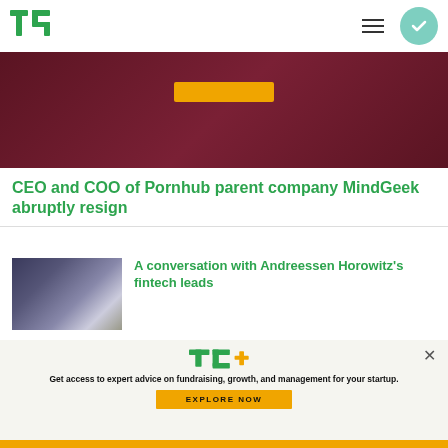TechCrunch
[Figure (photo): Dark red/maroon background hero image with a yellow explore button]
CEO and COO of Pornhub parent company MindGeek abruptly resign
[Figure (photo): Dollar bill dissolving into glittery particles]
A conversation with Andreessen Horowitz's fintech leads
[Figure (infographic): TC+ promotional overlay with logo, tagline and EXPLORE NOW button]
Get access to expert advice on fundraising, growth, and management for your startup.